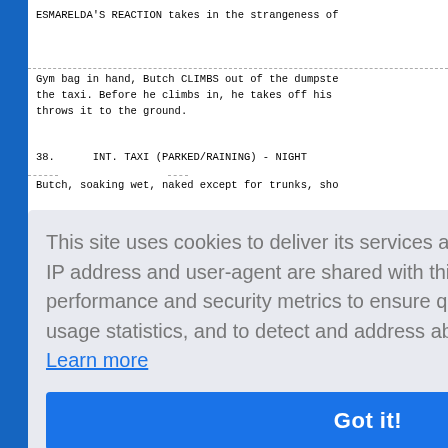ESMARELDA'S REACTION takes in the strangeness of
Gym bag in hand, Butch CLIMBS out of the dumpste the taxi. Before he climbs in, he takes off his throws it to the ground.
38.   INT. TAXI (PARKED/RAINING) - NIGHT
Butch, soaking wet, naked except for trunks, sho
to Butch
[Figure (screenshot): Cookie consent overlay with text: 'This site uses cookies to deliver its services and to analyze traffic. Your IP address and user-agent are shared with this website along with performance and security metrics to ensure quality of service, generate usage statistics, and to detect and address abuse. Learn more' and a blue 'Got it!' button.]
posed to
d, I'm t ck up.
The ignition key is TWISTED.  The engine ROARS t